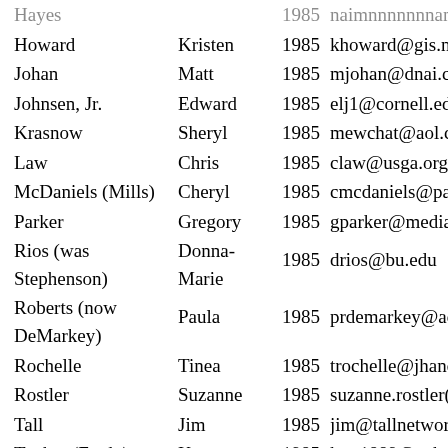| Last Name | First Name | Year | Email |
| --- | --- | --- | --- |
| Hayes (partial) |  | 1985 | ... |
| Howard | Kristen | 1985 | khoward@gis.ne |
| Johan | Matt | 1985 | mjohan@dnai.co |
| Johnsen, Jr. | Edward | 1985 | elj1@cornell.edu |
| Krasnow | Sheryl | 1985 | mewchat@aol.co |
| Law | Chris | 1985 | claw@usga.org |
| McDaniels (Mills) | Cheryl | 1985 | cmcdaniels@pa |
| Parker | Gregory | 1985 | gparker@media |
| Rios (was Stephenson) | Donna-Marie | 1985 | drios@bu.edu |
| Roberts (now DeMarkey) | Paula | 1985 | prdemarkey@ac |
| Rochelle | Tinea | 1985 | trochelle@jhano |
| Rostler | Suzanne | 1985 | suzanne.rostler( |
| Tall | Jim | 1985 | jim@tallnetworl |
| Tucker (Fardy) | Karen | 1985 | kmt1889@yaho |
| Weinbaum (now DiModica) | Beth | 1985 | bmdimodica@en |
| Butter (Goldberg) | Alison | 1984 | samari@mediao |
| Kilduff | Nancy | 1984 | nalaquerre@aol. |
| Weiss | Stephen | 1984 | shweiss@flash.n |
| Williamson (now | Lisa | 1984 | lisa@straith.us |